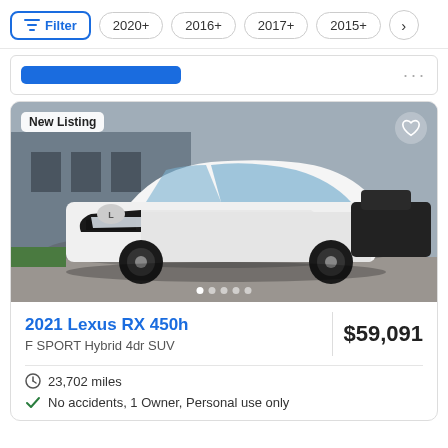Filter | 2020+ | 2016+ | 2017+ | 2015+ | >
[Figure (screenshot): Partial view of a car listing card above, showing a blue button stub and ellipsis dots]
[Figure (photo): White 2021 Lexus RX 450h F SPORT Hybrid SUV photographed in a dealership parking lot from a front three-quarter angle. Badge reads 'New Listing' in top left. Heart/favorite icon top right. Five carousel navigation dots at bottom.]
2021 Lexus RX 450h
F SPORT Hybrid 4dr SUV
$59,091
23,702 miles
No accidents, 1 Owner, Personal use only